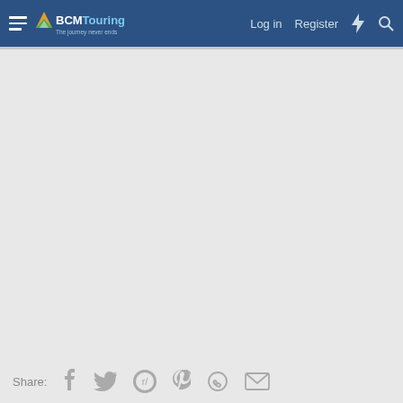BCMTouring — The journey never ends | Log in | Register
[Figure (screenshot): Empty main content area with light gray background]
Share: